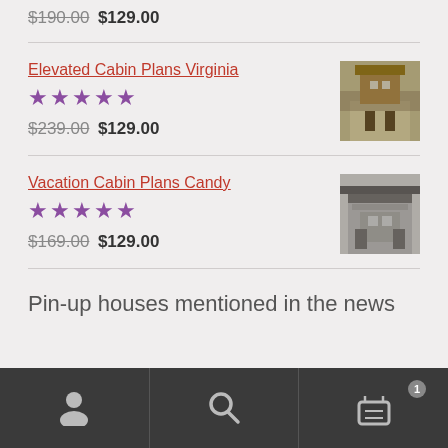$190.00 $129.00
Elevated Cabin Plans Virginia
★★★★★
$239.00 $129.00
[Figure (photo): Photo of an elevated wooden cabin structure]
Vacation Cabin Plans Candy
★★★★★
$169.00 $129.00
[Figure (photo): Photo of a vacation cabin structure]
Pin-up houses mentioned in the news
Navigation bar with user, search, and cart icons